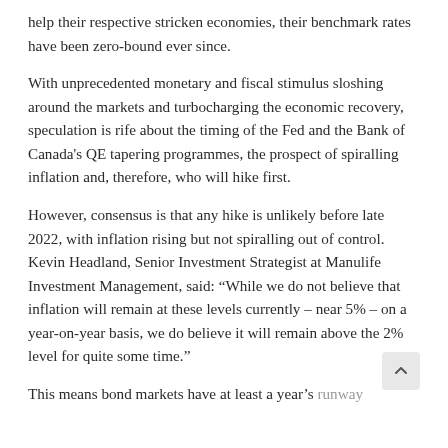help their respective stricken economies, their benchmark rates have been zero-bound ever since.
With unprecedented monetary and fiscal stimulus sloshing around the markets and turbocharging the economic recovery, speculation is rife about the timing of the Fed and the Bank of Canada's QE tapering programmes, the prospect of spiralling inflation and, therefore, who will hike first.
However, consensus is that any hike is unlikely before late 2022, with inflation rising but not spiralling out of control. Kevin Headland, Senior Investment Strategist at Manulife Investment Management, said: “While we do not believe that inflation will remain at these levels currently – near 5% – on a year-on-year basis, we do believe it will remain above the 2% level for quite some time.”
This means bond markets have at least a year’s runway